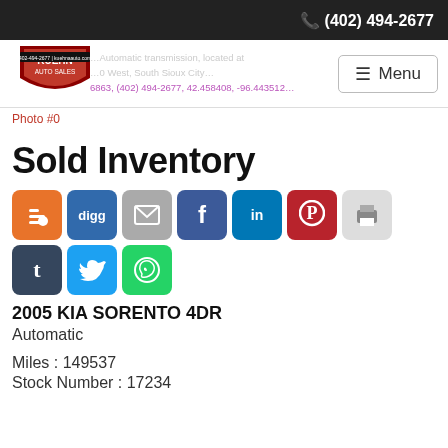(402) 494-2677
[Figure (logo): Kuehn Auto Sales shield logo with phone number 402-494-2677 and website kuehnaauto.com]
Automatic transmission, located at ... 0 West, South Sioux City ... 6863, (402) 494-2677, 42.458408, -96.443512
Photo #0
Sold Inventory
[Figure (infographic): Social sharing icons: Blogger, Digg, Email, Facebook, LinkedIn, Pinterest, Print, Tumblr, Twitter, WhatsApp]
2005 KIA SORENTO 4DR
Automatic
Miles : 149537
Stock Number : 17234